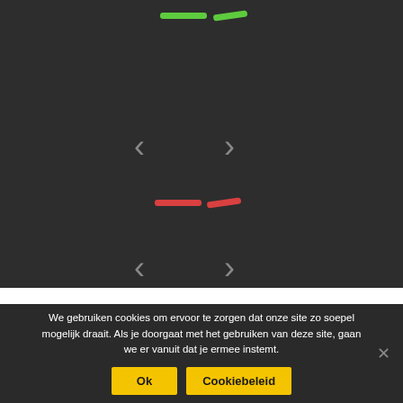[Figure (screenshot): Dark background UI with green dashes at top center, two sets of left/right navigation chevrons, and red dashes in the middle area. Below is a white strip and a cookie consent banner with Ok and Cookiebeleid buttons.]
We gebruiken cookies om ervoor te zorgen dat onze site zo soepel mogelijk draait. Als je doorgaat met het gebruiken van deze site, gaan we er vanuit dat je ermee instemt.